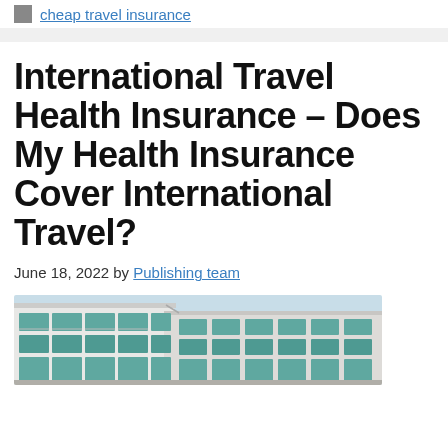cheap travel insurance
International Travel Health Insurance – Does My Health Insurance Cover International Travel?
June 18, 2022 by Publishing team
[Figure (photo): Exterior view of a multi-story hotel or apartment building with balconies and teal/green window frames, photographed from below at an angle against a bright sky.]